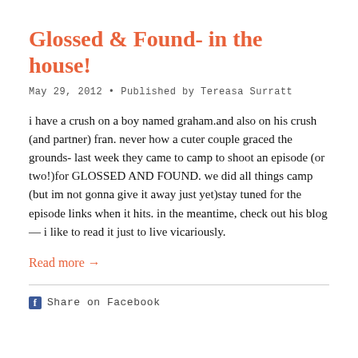Glossed & Found- in the house!
May 29, 2012 • Published by Tereasa Surratt
i have a crush on a boy named graham.and also on his crush (and partner) fran. never how a cuter couple graced the grounds- last week they came to camp to shoot an episode (or two!)for GLOSSED AND FOUND. we did all things camp (but im not gonna give it away just yet)stay tuned for the episode links when it hits. in the meantime, check out his blog— i like to read it just to live vicariously.
Read more →
Share on Facebook